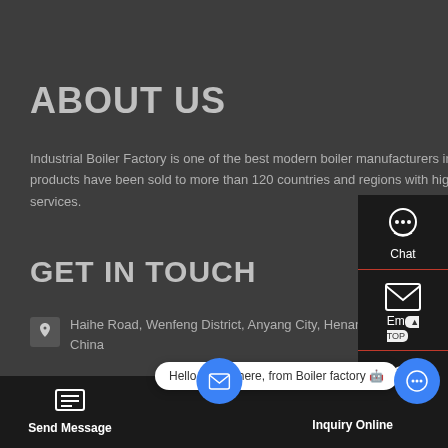ABOUT US
Industrial Boiler Factory is one of the best modern boiler manufacturers in China. Our products have been sold to more than 120 countries and regions with high quality boilers and services.
GET IN TOUCH
Haihe Road, Wenfeng District, Anyang City, Henan Province, China
Eamil: price@boilermanufactory.com
[Figure (screenshot): Right sidebar with Chat, Email, and Contact icons on dark background]
[Figure (screenshot): Bottom navigation bar with Send Message button, chat bubble saying 'Hello, Helen here, from Boiler factory', mail FAB, and Inquiry Online button]